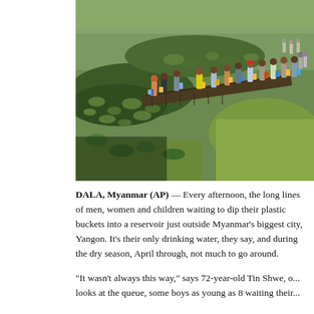[Figure (photo): A long line of men, women and children carrying plastic buckets and yellow/blue containers walk along a wooden dock/bridge over a reservoir covered with lily pads and green vegetation, near a grassy bank. People queue to collect water.]
DALA, Myanmar (AP) — Every afternoon, the long lines of men, women and children waiting to dip their plastic buckets into a reservoir just outside Myanmar's biggest city, Yangon. It's their only drinking water, they say, and during the dry season, April through, not much to go around.
"It wasn't always this way," says 72-year-old Tin Shwe, o... looks at the queue, some boys as young as 8 waiting their... and the church left the 8 days for the taps. Th...